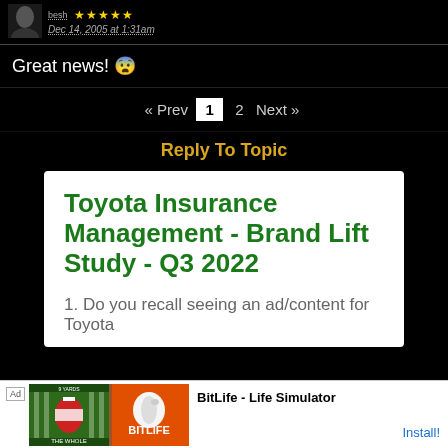Dec 14, 2005 at 1:31am
Great news! 😨
« Prev 1 2 Next »
Reply To Topic
Toyota Insurance Management - Brand Lift Study - Q3 2022
1. Do you recall seeing an ad/content for Toyota
[Figure (screenshot): Mobile ad banner for BitLife - Life Simulator app showing football jersey and BitLife logo]